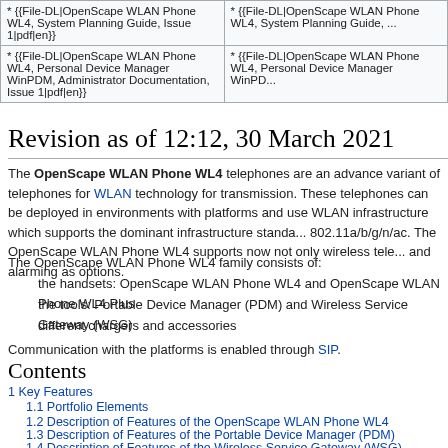| * {{File-DL|OpenScape WLAN Phone WL4, System Planning Guide, Issue 1|pdf|en}} | * {{File-DL|OpenScape ... Planning Guide, ...}} |
| * {{File-DL|OpenScape WLAN Phone WL4, Personal Device Manager WinPDM, Administrator Documentation, Issue 1|pdf|en}} | * {{File-DL|OpenScape ... Manager WinPD...}} |
Revision as of 12:12, 30 March 2021
The OpenScape WLAN Phone WL4 telephones are an advance variant of telephones for WLAN technology for transmission. These telephones can be deployed in environments with platforms and use WLAN infrastructure which supports the dominant infrastructure standard 802.11a/b/g/n/ac. The OpenScape WLAN Phone WL4 supports now not only wireless tele... and alarming as options.
The OpenScape WLAN Phone WL4 family consists of:
the handsets: OpenScape WLAN Phone WL4 and OpenScape WLAN Phone WL4 Plus
the tools: Portable Device Manager (PDM) and Wireless Service Gateway (WSG)
different chargers and accessories
Communication with the platforms is enabled through SIP.
Contents
1 Key Features
1.1 Portfolio Elements
1.2 Description of Features of the OpenScape WLAN Phone WL4
1.3 Description of Features of the Portable Device Manager (PDM)
1.4 Description of Features of the Wireless Service Gateway (WSG)
2 Connectable Devices